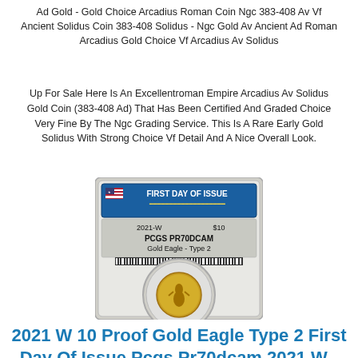Ad Gold - Gold Choice Arcadius Roman Coin Ngc 383-408 Av Vf Ancient Solidus Coin 383-408 Solidus - Ngc Gold Av Ancient Ad Roman Arcadius Gold Choice Vf Arcadius Av Solidus
Up For Sale Here Is An Excellentroman Empire Arcadius Av Solidus Gold Coin (383-408 Ad) That Has Been Certified And Graded Choice Very Fine By The Ngc Grading Service. This Is A Rare Early Gold Solidus With Strong Choice Vf Detail And A Nice Overall Look.
[Figure (photo): A PCGS graded coin slab labeled 'First Day of Issue', 2021-W, $10, PCGS PR70DCAM, Gold Eagle - Type 2, with a gold coin visible in the lower portion of the slab.]
2021 W 10 Proof Gold Eagle Type 2 First Day Of Issue Pcgs Pr70dcam 2021 W -